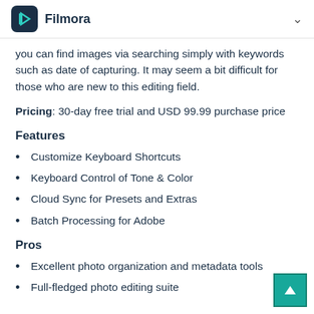Filmora
you can find images via searching simply with keywords such as date of capturing. It may seem a bit difficult for those who are new to this editing field.
Pricing: 30-day free trial and USD 99.99 purchase price
Features
Customize Keyboard Shortcuts
Keyboard Control of Tone & Color
Cloud Sync for Presets and Extras
Batch Processing for Adobe
Pros
Excellent photo organization and metadata tools
Full-fledged photo editing suite